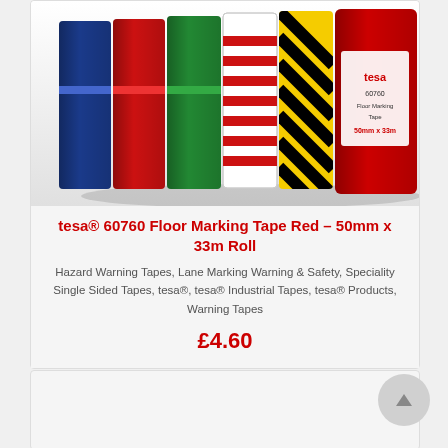[Figure (photo): Multiple rolls of colourful floor marking tapes including red, green, white, blue, yellow/black hazard stripe, and red/white stripe variants, photographed from the side showing the rolls stacked together against a white background.]
tesa® 60760 Floor Marking Tape Red – 50mm x 33m Roll
Hazard Warning Tapes, Lane Marking Warning & Safety, Speciality Single Sided Tapes, tesa®, tesa® Industrial Tapes, tesa® Products, Warning Tapes
£4.60
[Figure (photo): Partial view of another product card below (cut off at page bottom).]